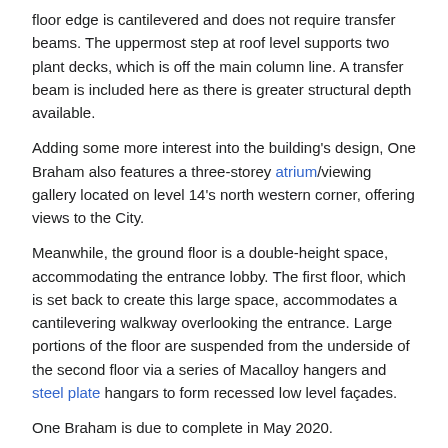floor edge is cantilevered and does not require transfer beams. The uppermost step at roof level supports two plant decks, which is off the main column line. A transfer beam is included here as there is greater structural depth available.
Adding some more interest into the building’s design, One Braham also features a three-storey atrium/viewing gallery located on level 14's north western corner, offering views to the City.
Meanwhile, the ground floor is a double-height space, accommodating the entrance lobby. The first floor, which is set back to create this large space, accommodates a cantilevering walkway overlooking the entrance. Large portions of the floor are suspended from the underside of the second floor via a series of Macalloy hangers and steel plate hangars to form recessed low level façades.
One Braham is due to complete in May 2020.
Plate girders
Richard Henderson of the SCI discusses some of the design issues. Riveted plate girders dating from Victorian times in use for long span railway bridges can still be seen. Flanges are laminated from plates and riveted angles connect flanges to webs and webs to stiffeners. Material was expensive and many such structures clearly show the distribution of internal